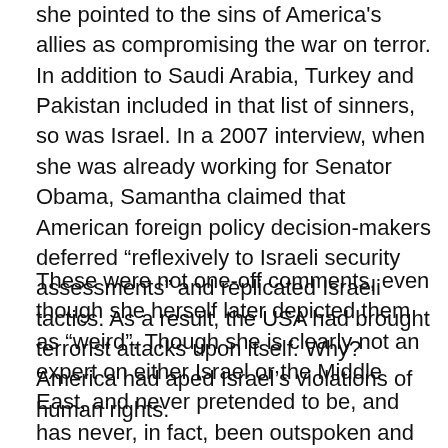she pointed to the sins of America's allies as compromising the war on terror. In addition to Saudi Arabia, Turkey and Pakistan included in that list of sinners, so was Israel. In a 2007 interview, when she was already working for Senator Obama, Samantha claimed that American foreign policy decision-makers deferred “reflexively to Israeli security assessments” and replicated Israeli tactics. As a result, the USA had brought terrorist attacks upon itself. Why? America had aped Israel’s violations of human rights.
These were not one-off comments, even though she herself later depicted them as “weird”. Though she is clearly not an expert on either Israel or the Middle East, and never pretended to be, and has never, in fact, been outspoken and vociferous on the subject, nevertheless these comments form a pattern and reflect widespread left